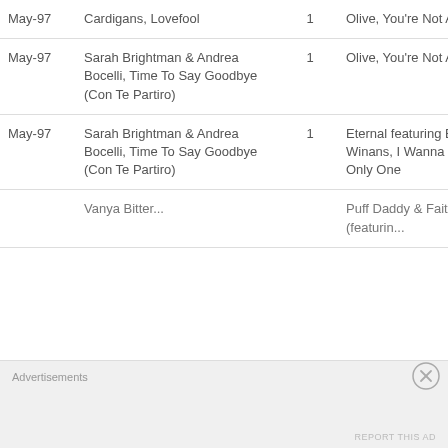| Date | Song | Weeks | Artist |
| --- | --- | --- | --- |
| May-97 | Cardigans, Lovefool | 1 | Olive, You're Not Alone |
| May-97 | Sarah Brightman & Andrea Bocelli, Time To Say Goodbye (Con Te Partiro) | 1 | Olive, You're Not Alone |
| May-97 | Sarah Brightman & Andrea Bocelli, Time To Say Goodbye (Con Te Partiro) | 1 | Eternal featuring BeBe Winans, I Wanna Be The Only One |
|  | Vanya Bitter... |  | Puff Daddy & Faith Evans (featurin... |
Advertisements